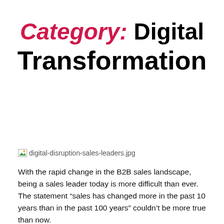Category: Digital Transformation
[Figure (photo): Broken/missing image placeholder showing filename: digital-disruption-sales-leaders.jpg]
With the rapid change in the B2B sales landscape, being a sales leader today is more difficult than ever. The statement “sales has changed more in the past 10 years than in the past 100 years” couldn’t be more true than now.